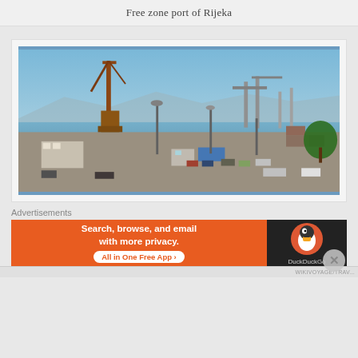Free zone port of Rijeka
[Figure (photo): Aerial/elevated view of the port of Rijeka free zone showing port cranes, dock area with stacked cargo, warehouses, parked vehicles, blue water in background and mountains on the horizon under a clear blue sky.]
Advertisements
[Figure (other): DuckDuckGo advertisement banner: orange left panel with text 'Search, browse, and email with more privacy. All in One Free App' and dark right panel with DuckDuckGo logo/duck icon.]